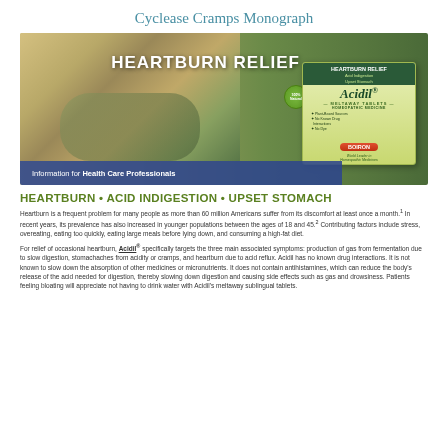Cyclease Cramps Monograph
[Figure (photo): Banner image showing a person holding their stomach/midsection area with text 'HEARTBURN RELIEF' overlaid on a green/olive background. A product box for Acidil Heartburn Relief meltaway tablets by Boiron is shown on the right side. A blue bar at the bottom reads 'Information for Health Care Professionals'.]
HEARTBURN • ACID INDIGESTION • UPSET STOMACH
Heartburn is a frequent problem for many people as more than 60 million Americans suffer from its discomfort at least once a month.1 In recent years, its prevalence has also increased in younger populations between the ages of 18 and 45.2 Contributing factors include stress, overeating, eating too quickly, eating large meals before lying down, and consuming a high-fat diet.
For relief of occasional heartburn, Acidil® specifically targets the three main associated symptoms: production of gas from fermentation due to slow digestion, stomachaches from acidity or cramps, and heartburn due to acid reflux. Acidil has no known drug interactions. It is not known to slow down the absorption of other medicines or micronutrients. It does not contain antihistamines, which can reduce the body's release of the acid needed for digestion, thereby slowing down digestion and causing side effects such as gas and drowsiness. Patients feeling bloating will appreciate not having to drink water with Acidil's meltaway sublingual tablets.